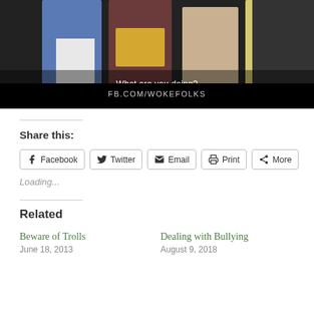[Figure (photo): Video thumbnail showing people standing, with subtitle 'What are you doing?' and watermark text 'FB.COM/WOKEFOLKS' on black background]
Share this:
Facebook | Twitter | Email | Print | More
Loading...
Related
Beware of Trolls
June 18, 2013
Dealing with Bullying
August 9, 2018